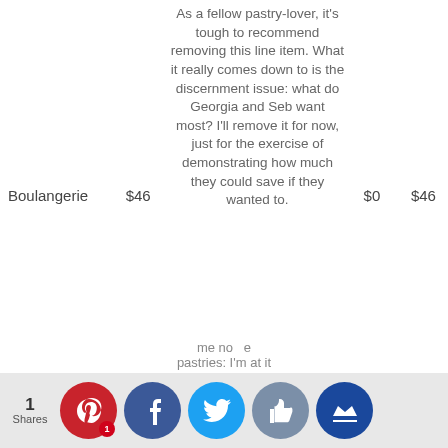|  | Budget | Notes | Cut | New Total |
| --- | --- | --- | --- | --- |
| Boulangerie | $46 | As a fellow pastry-lover, it's tough to recommend removing this line item. What it really comes down to is the discernment issue: what do Georgia and Seb want most? I'll remove it for now, just for the exercise of demonstrating how much they could save if they wanted to. | $0 | $46 |
me no e pastries: I'm at it